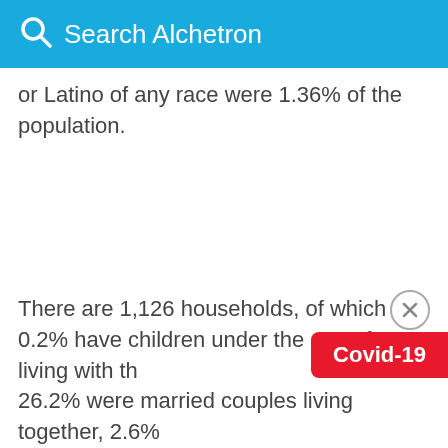Search Alchetron
or Latino of any race were 1.36% of the population.
There are 1,126 households, of which 0.2% have children under the age of 18 living with th... 26.2% were married couples living together, 2.6%